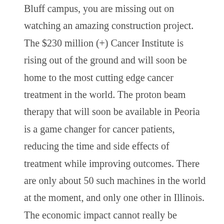Bluff campus, you are missing out on watching an amazing construction project. The $230 million (+) Cancer Institute is rising out of the ground and will soon be home to the most cutting edge cancer treatment in the world. The proton beam therapy that will soon be available in Peoria is a game changer for cancer patients, reducing the time and side effects of treatment while improving outcomes. There are only about 50 such machines in the world at the moment, and only one other in Illinois. The economic impact cannot really be overstated. The construction process alone is creating hundreds of jobs. The facility itself will expand OSF's roster of employees and the spend that comes with those new jobs. When open, the facility will provide world class treatment to our citizens, allowing them to stay at home rather than travel to places like the Mayo Clinic in Rochester, MN to find healing. Moreover, the Cancer Institute will be a magnet to others seeking the